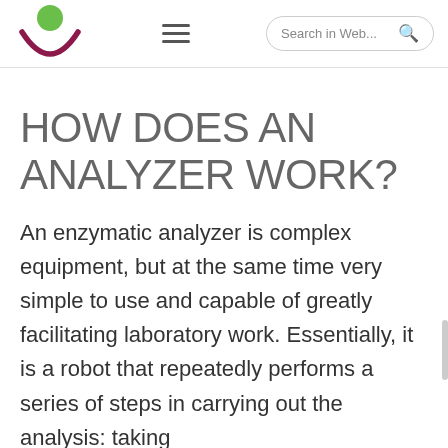[Figure (logo): Website logo: green circle above a dark magenta/maroon arc, forming an abstract face or smile shape]
Search in Web...
HOW DOES AN ANALYZER WORK?
An enzymatic analyzer is complex equipment, but at the same time very simple to use and capable of greatly facilitating laboratory work. Essentially, it is a robot that repeatedly performs a series of steps in carrying out the analysis: taking